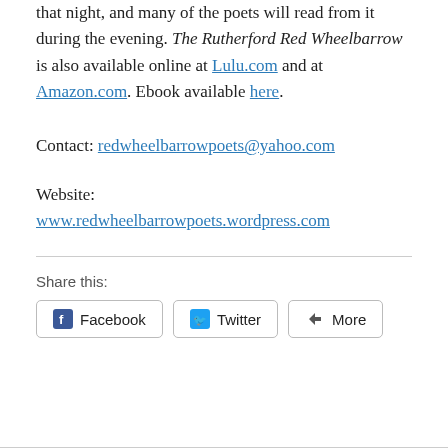that night, and many of the poets will read from it during the evening. The Rutherford Red Wheelbarrow is also available online at Lulu.com and at Amazon.com. Ebook available here.
Contact: redwheelbarrowpoets@yahoo.com
Website:
www.redwheelbarrowpoets.wordpress.com
Share this:
Facebook   Twitter   More